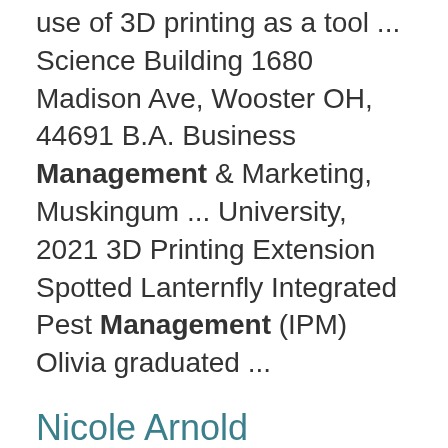use of 3D printing as a tool ... Science Building 1680 Madison Ave, Wooster OH, 44691 B.A. Business Management & Marketing, Muskingum ... University, 2021 3D Printing Extension Spotted Lanternfly Integrated Pest Management (IPM) Olivia graduated ...
Nicole Arnold
https://foodsafety.osu.edu/people/nicole-arnold
Extension personnel. She has spent the past three years as a research and teaching Assistant Professor in ... Her research aims to assess the current landscape of various food-based activities...